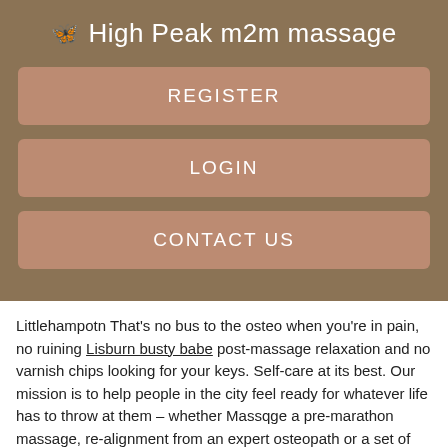🦋 High Peak m2m massage
REGISTER
LOGIN
CONTACT US
Littlehampotn That's no bus to the osteo when you're in pain, no ruining Lisburn busty babe post-massage relaxation and no varnish chips looking for your keys. Self-care at its best. Our mission is to help people in the city feel ready for whatever life has to throw at them – whether Massqge a pre-marathon massage, re-alignment from an expert osteopath or a set of hard-as-nails nails for the meeting tomorrow.
There's no strangers on the platform, every practitioner heads